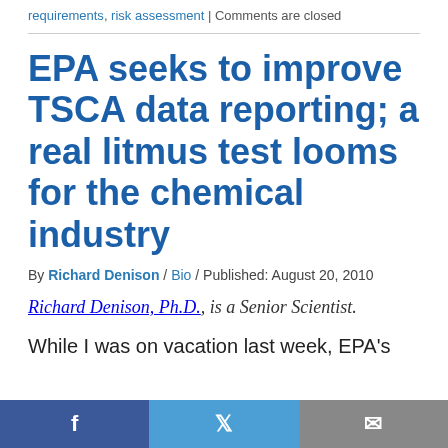requirements, risk assessment | Comments are closed
EPA seeks to improve TSCA data reporting; a real litmus test looms for the chemical industry
By Richard Denison / Bio / Published: August 20, 2010
Richard Denison, Ph.D., is a Senior Scientist.
While I was on vacation last week, EPA's